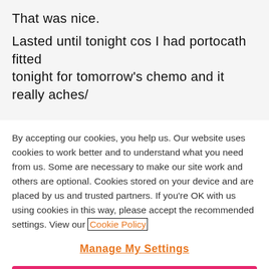That was nice.
Lasted until tonight cos I had portocath fitted tonight for tomorrow's chemo and it really aches/
By accepting our cookies, you help us. Our website uses cookies to work better and to understand what you need from us. Some are necessary to make our site work and others are optional. Cookies stored on your device and are placed by us and trusted partners. If you're OK with us using cookies in this way, please accept the recommended settings. View our Cookie Policy
Manage My Settings
Reject All
Accept All Cookies